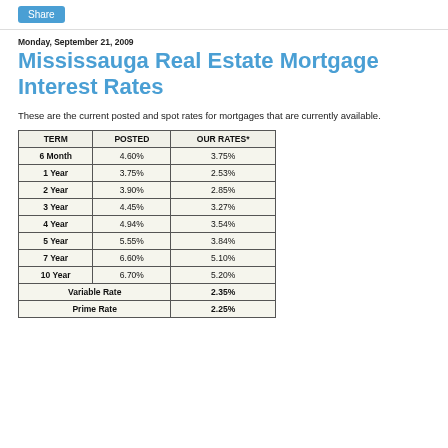Share
Monday, September 21, 2009
Mississauga Real Estate Mortgage Interest Rates
These are the current posted and spot rates for mortgages that are currently available.
| TERM | POSTED | OUR RATES* |
| --- | --- | --- |
| 6 Month | 4.60% | 3.75% |
| 1 Year | 3.75% | 2.53% |
| 2 Year | 3.90% | 2.85% |
| 3 Year | 4.45% | 3.27% |
| 4 Year | 4.94% | 3.54% |
| 5 Year | 5.55% | 3.84% |
| 7 Year | 6.60% | 5.10% |
| 10 Year | 6.70% | 5.20% |
| Variable Rate |  | 2.35% |
| Prime Rate |  | 2.25% |